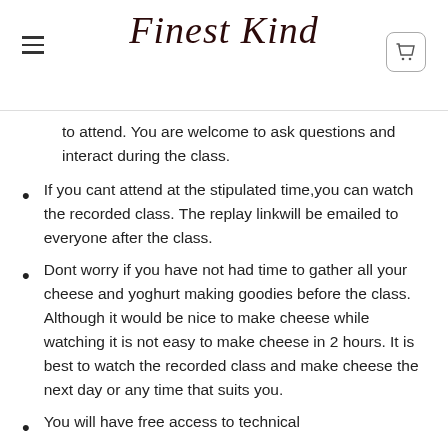Finest Kind
to attend. You are welcome to ask questions and interact during the class.
If you cant attend at the stipulated time,you can watch the recorded class. The replay linkwill be emailed to everyone after the class.
Dont worry if you have not had time to gather all your cheese and yoghurt making goodies before the class. Although it would be nice to make cheese while watching it is not easy to make cheese in 2 hours. It is best to watch the recorded class and make cheese the next day or any time that suits you.
You will have free access to technical